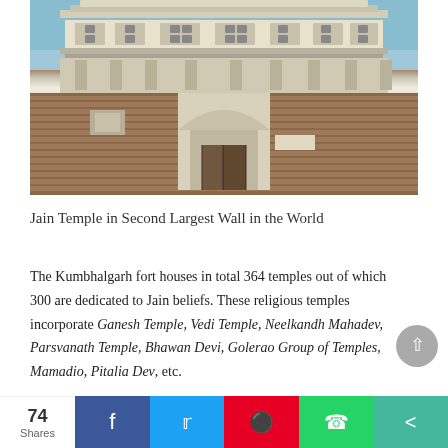[Figure (photo): Photograph of the Kumbhalgarh fort Jain temple facade showing ornate multi-tiered stone architecture with carved decorative panels, arched entrance gateway, and stone masonry walls against a blue sky]
Jain Temple in Second Largest Wall in the World
The Kumbhalgarh fort houses in total 364 temples out of which 300 are dedicated to Jain beliefs. These religious temples incorporate Ganesh Temple, Vedi Temple, Neelkandh Mahadev, Parsvanath Temple, Bhawan Devi, Golerao Group of Temples, Mamadio, Pitalia Dev, etc.